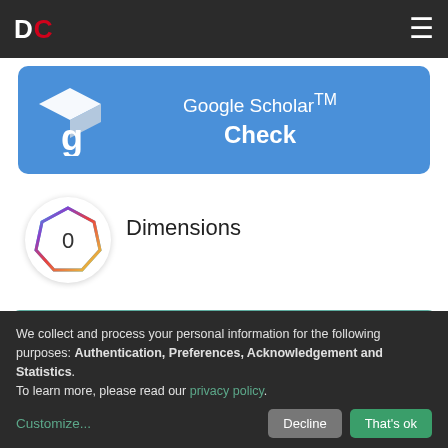DC
[Figure (logo): Google Scholar logo with white graduation cap and stylized g, on blue background]
Google Scholar™ Check
[Figure (other): Dimensions badge showing colorful polygon with number 0 inside a white circle]
Dimensions
WARNING: Items in Digital.CSIC are protected by copyright, with all rights reserved, unless otherwise indicated.
We collect and process your personal information for the following purposes: Authentication, Preferences, Acknowledgement and Statistics. To learn more, please read our privacy policy.
Customize... Decline That's ok